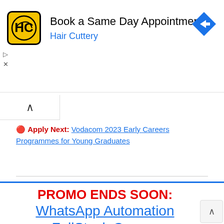[Figure (infographic): Hair Cuttery advertisement banner with yellow HC logo, text 'Book a Same Day Appointment' and 'Hair Cuttery' in blue, blue diamond arrow icon on right]
🔴 Apply Next: Vodacom 2023 Early Careers Programmes for Young Graduates
[Figure (infographic): Promotional block: 'PROMO ENDS SOON:' in red bold, 'WhatsApp Automation FullStack Course' as blue underlined link text]